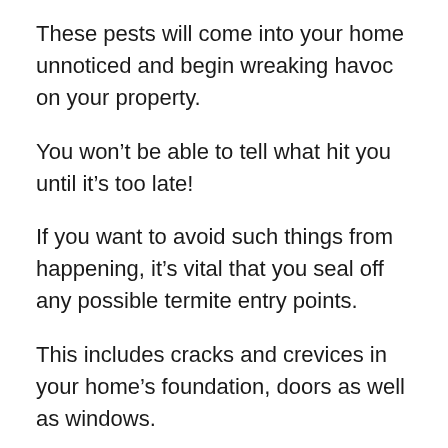These pests will come into your home unnoticed and begin wreaking havoc on your property.
You won’t be able to tell what hit you until it’s too late!
If you want to avoid such things from happening, it’s vital that you seal off any possible termite entry points.
This includes cracks and crevices in your home’s foundation, doors as well as windows.
You should also seal off any gaps that you find around light fixtures or